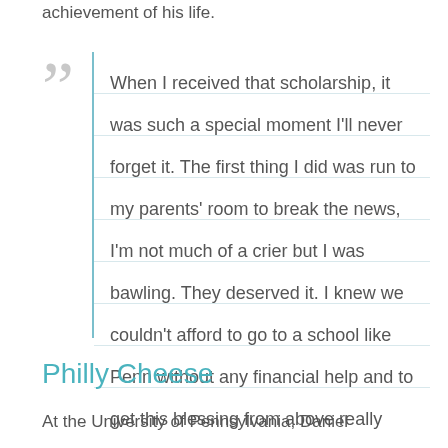achievement of his life.
When I received that scholarship, it was such a special moment I'll never forget it. The first thing I did was run to my parents' room to break the news, I'm not much of a crier but I was bawling. They deserved it. I knew we couldn't afford to go to a school like Penn without any financial help and to get this blessing from above really helped put things in perspective.
Philly Cheese
At the University of Pennsylvania, Daniel